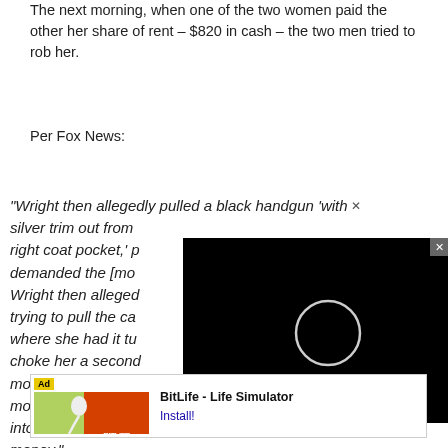The next morning, when one of the two women paid the other her share of rent – $820 in cash – the two men tried to rob her.
Per Fox News:
“Wright then allegedly pulled a black handgun ‘with silver trim out from right coat pocket,’ p[ointed it at her and] demanded the [mo[ney]. Wright then allege[dly grabbed her purse, trying to pull the ca[sh out, but she had put it somewhere where she had it tu[cked away]. Wright [then] tried to choke her a second [time and demanded the money…Driver allegedly told her to give Wright the mone[y. Once] got into a [car, they drove away with]ut the money.”